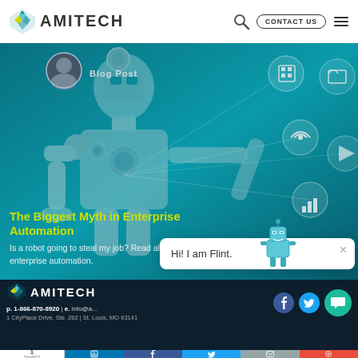AMITECH | CONTACT US
[Figure (illustration): Hero banner with a robot figure on a teal/dark background. Overlaid with circular technology icons. Shows a blog post label and avatar in upper left of banner.]
The Biggest Myth in Enterprise Automation
Is a robot going to steal my job? Read all about this myth in enterprise automation.
[Figure (illustration): Chat popup widget showing a small robot mascot (Flint) and dialog box saying 'Hi! I am Flint.' with a close button.]
p. 1-866-870-8920 | e. info@a... | 1 CityPlace Drive, Ste. 282 | St. Louis, MO 63141
1 SHARES